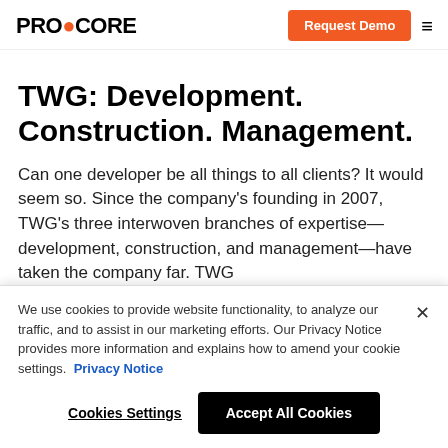PROCORE | Request Demo
TWG: Development. Construction. Management.
Can one developer be all things to all clients? It would seem so. Since the company's founding in 2007, TWG's three interwoven branches of expertise—development, construction, and management—have taken the company far. TWG has $764 million in completed developments to date
We use cookies to provide website functionality, to analyze our traffic, and to assist in our marketing efforts. Our Privacy Notice provides more information and explains how to amend your cookie settings. Privacy Notice
Cookies Settings  Accept All Cookies